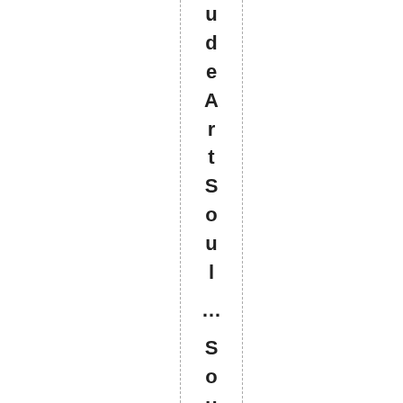udeArtSoul ... Soulartcaliburnude